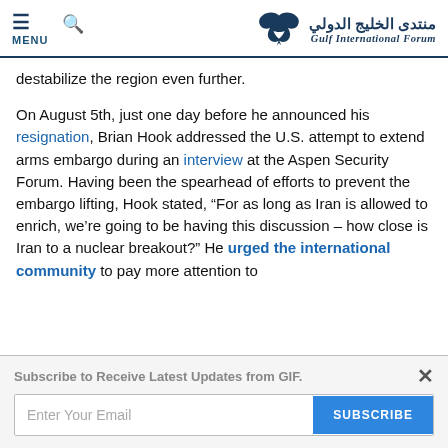Gulf International Forum
destabilize the region even further.
On August 5th, just one day before he announced his resignation, Brian Hook addressed the U.S. attempt to extend arms embargo during an interview at the Aspen Security Forum. Having been the spearhead of efforts to prevent the embargo lifting, Hook stated, “For as long as Iran is allowed to enrich, we’re going to be having this discussion – how close is Iran to a nuclear breakout?” He urged the international community to pay more attention to
Subscribe to Receive Latest Updates from GIF.